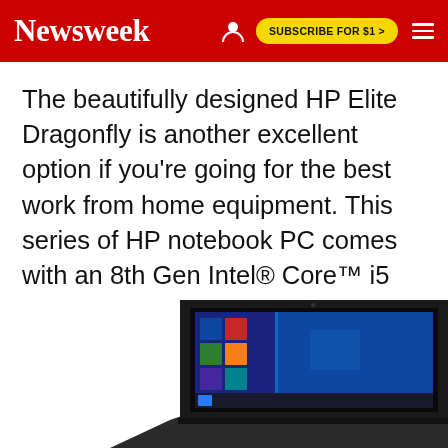Newsweek  SUBSCRIBE FOR $1 >
The beautifully designed HP Elite Dragonfly is another excellent option if you're going for the best work from home equipment. This series of HP notebook PC comes with an 8th Gen Intel® Core™ i5 processor, a 13.3" diagonal full HD touch display, and is installed with Windows Pro 64.
[Figure (photo): HP Elite Dragonfly laptop showing Windows 10 Start menu on screen, viewed from a slight angle, dark chassis, partially cropped at the bottom of the page.]